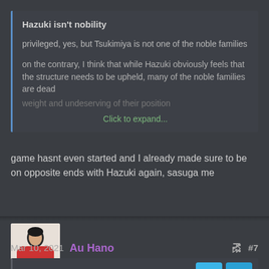Hazuki isn't nobility
privileged, yes, but Tsukimiya is not one of the noble families
on the contrary, I think that while Hazuki obviously feels that the structure needs to be upheld, many of the noble families are dead weight and undeserving of their position
Click to expand...
game hasnt even started and I already made sure to be on opposite ends with Hazuki again, sasuga me
Au Hano
Mar 10, 2021
#7
akiyama said: